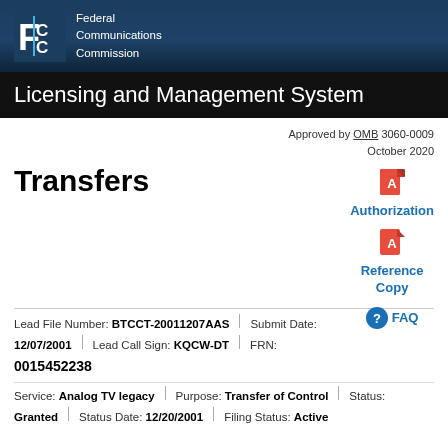[Figure (logo): FCC Federal Communications Commission logo with white F C C letters on dark blue background and agency name text]
Licensing and Management System
Approved by OMB 3060-0009
October 2020
Transfers
[Figure (illustration): PDF icon for Authorization document link]
Authorization
[Figure (illustration): PDF icon for Reference Copy document link]
Reference Copy
FAQ
| Lead File Number: | BTCCT-20011207AAS | Submit Date: |  |
| 12/07/2001 | Lead Call Sign: | KQCW-DT | FRN: |
| 0015452238 |  |  |  |
| Service: | Analog TV legacy | Purpose: | Transfer of Control | Status: |  |
| Granted | Status Date: | 12/20/2001 | Filing Status: | Active |